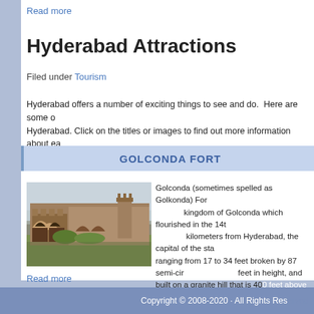Read more
Hyderabad Attractions
Filed under Tourism
Hyderabad offers a number of exciting things to see and do.  Here are some of the top attractions of Hyderabad. Click on the titles or images to find out more information about each attraction.
GOLCONDA FORT
[Figure (photo): Photo of Golconda Fort ruins showing stone arched structures and green grounds]
Golconda (sometimes spelled as Golkonda) Fort is the ruined capital of the ancient kingdom of Golconda which flourished in the 14th centuries. The fort is situated 11 kilometers from Hyderabad, the capital of the state of Andhra Pradesh. With walls ranging from 17 to 34 feet broken by 87 semi-circular bastions, some of which are 60 feet in height, and built on a granite hill that is 400 feet above the plain, it is one of India's most magnificent fortress complexes. Find more information on Golconda Fort...
Read more
Copyright © 2008-2020 · All Rights Reserved